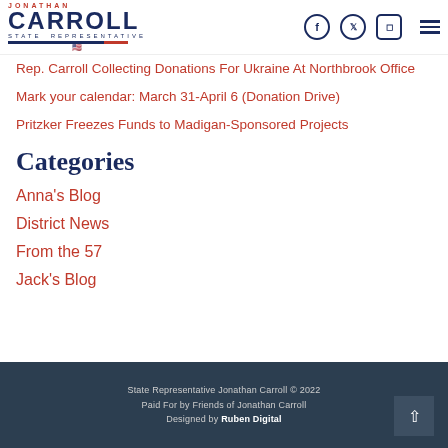[Figure (logo): Jonathan Carroll State Representative logo with red JONATHAN text, blue CARROLL large letters, STATE REPRESENTATIVE tagline, decorative line and small Illinois flag icon]
Rep. Carroll Collecting Donations For Ukraine At Northbrook Office
Mark your calendar: March 31-April 6 (Donation Drive)
Pritzker Freezes Funds to Madigan-Sponsored Projects
Categories
Anna's Blog
District News
From the 57
Jack's Blog
State Representative Jonathan Carroll © 2022
Paid For by Friends of Jonathan Carroll
Designed by Ruben Digital